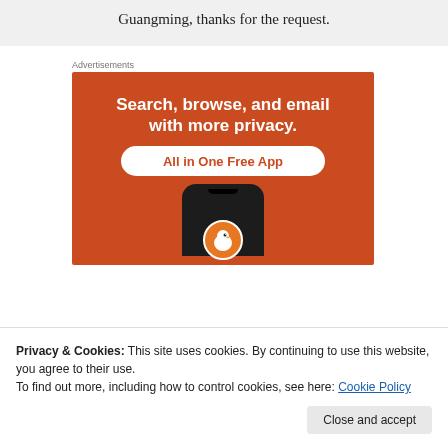Guangming, thanks for the request.
Advertisements
[Figure (illustration): DuckDuckGo advertisement on orange background. Text reads: 'Search, browse, and email with more privacy. All in One Free App'. Shows a smartphone with DuckDuckGo duck logo.]
Privacy & Cookies: This site uses cookies. By continuing to use this website, you agree to their use.
To find out more, including how to control cookies, see here: Cookie Policy
Close and accept